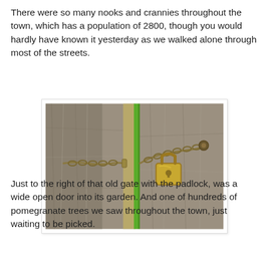There were so many nooks and crannies throughout the town, which has a population of 2800, though you would hardly have known it yesterday as we walked alone through most of the streets.
[Figure (photo): A close-up photo of a wooden gate or fence secured with a metal chain and a brass padlock. A narrow strip of green vegetation is visible between the wooden planks.]
Just to the right of that old gate with the padlock, was a wide open door into its garden. And one of hundreds of pomegranate trees we saw throughout the town, just waiting to be picked.